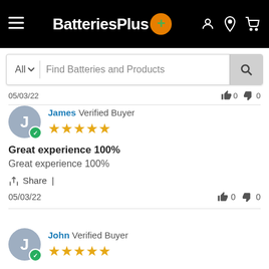BatteriesPlus — navigation header with hamburger menu, logo, and icons
All  Find Batteries and Products
05/03/22  👍 0  👎 0
James Verified Buyer ★★★★★
Great experience 100%
Great experience 100%
Share |
05/03/22  👍 0  👎 0
John Verified Buyer ★★★★★